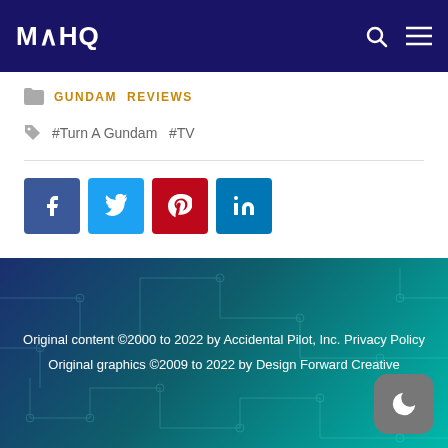MAHQ
GUNDAM   REVIEWS
#Turn A Gundam  #TV
[Figure (infographic): Social sharing buttons: Facebook (blue), Twitter (light blue), Pinterest (red), LinkedIn (blue)]
Original content ©2000 to 2022 by Accidental Pilot, Inc. Privacy Policy
Original graphics ©2009 to 2022 by Design Forward Creative